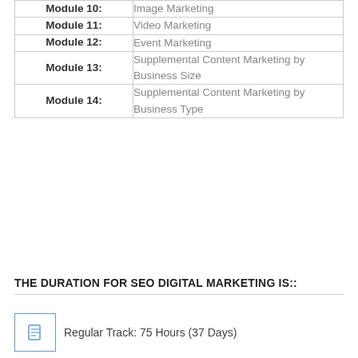| Module | Topic |
| --- | --- |
| Module 10: | Image Marketing |
| Module 11: | Video Marketing |
| Module 12: | Event Marketing |
| Module 13: | Supplemental Content Marketing by Business Size |
| Module 14: | Supplemental Content Marketing by Business Type |
THE DURATION FOR SEO DIGITAL MARKETING IS::
Regular Track: 75 Hours (37 Days)